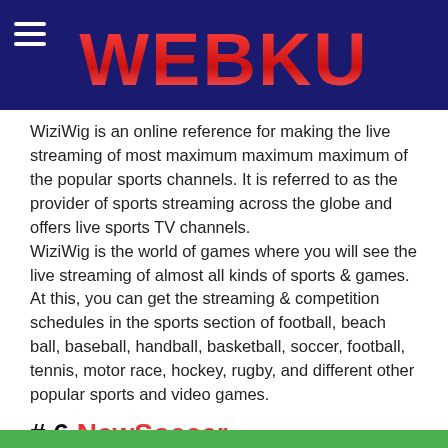WEBKU
WiziWig is an online reference for making the live streaming of most maximum maximum maximum of the popular sports channels. It is referred to as the provider of sports streaming across the globe and offers live sports TV channels. WiziWig is the world of games where you will see the live streaming of almost all kinds of sports & games. At this, you can get the streaming & competition schedules in the sports section of football, beach ball, baseball, handball, basketball, soccer, football, tennis, motor race, hockey, rugby, and different other popular sports and video games.
# 6 NewSoccer